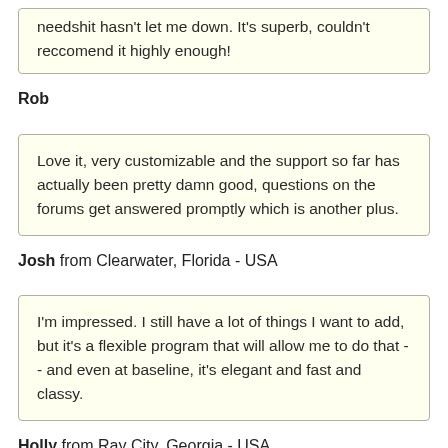needshit hasn't let me down. It's superb, couldn't reccomend it highly enough!
Rob
Love it, very customizable and the support so far has actually been pretty damn good, questions on the forums get answered promptly which is another plus.
Josh from Clearwater, Florida - USA
I'm impressed. I still have a lot of things I want to add, but it's a flexible program that will allow me to do that -- and even at baseline, it's elegant and fast and classy.
Holly from Ray City, Georgia - USA
It has been very easy to use and totally adaptable to my needs. Fantastic value for the money, fo...